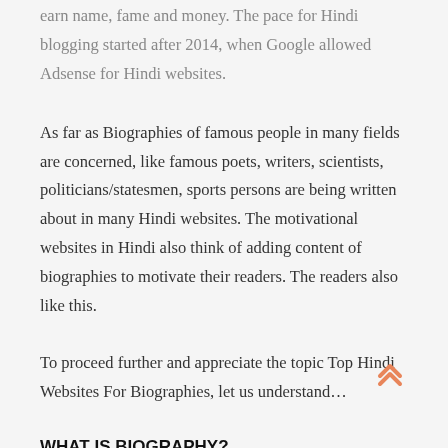earn name, fame and money. The pace for Hindi blogging started after 2014, when Google allowed Adsense for Hindi websites.
As far as Biographies of famous people in many fields are concerned, like famous poets, writers, scientists, politicians/statesmen, sports persons are being written about in many Hindi websites. The motivational websites in Hindi also think of adding content of biographies to motivate their readers. The readers also like this.
To proceed further and appreciate the topic Top Hindi Websites For Biographies, let us understand…
WHAT IS BIOGRAPHY?